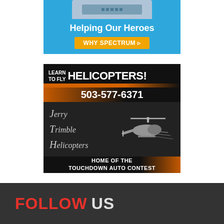[Figure (advertisement): Spectrum ad: device image at top, blue background, 'Helping Our Heroes' text, yellow 'WHY SPECTRUM >' button]
[Figure (advertisement): Jerry Trimble Helicopters ad: 'LEARN TO FLY HELICOPTERS!' with phone 503-577-6371, helicopter logo image, 'HOME OF THE TOUCHDOWN AUTO CONTEST' footer]
FOLLOW US